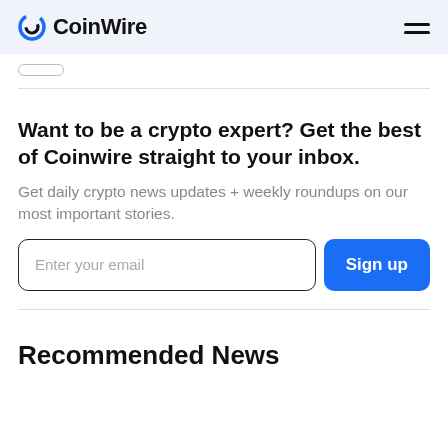CoinWire
Want to be a crypto expert? Get the best of Coinwire straight to your inbox.
Get daily crypto news updates + weekly roundups on our most important stories.
Enter your email | Sign up
Recommended News